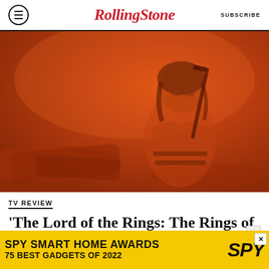RollingStone — SUBSCRIBE
[Figure (photo): A woman in warrior attire with a sword on her back, standing in a reddish-orange hazy environment, looking back over her shoulder. Scene from 'The Lord of the Rings: The Rings of Power'.]
TV REVIEW
'The Lord of the Rings: The Rings of
[Figure (other): Advertisement banner: SPY SMART HOME AWARDS 75 BEST GADGETS OF 2022, with SPY logo on yellow background]